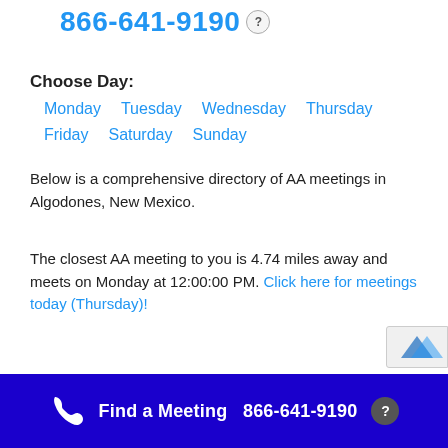866-641-9190
Choose Day:
Monday  Tuesday  Wednesday  Thursday  Friday  Saturday  Sunday
Below is a comprehensive directory of AA meetings in Algodones, New Mexico.
The closest AA meeting to you is 4.74 miles away and meets on Monday at 12:00:00 PM. Click here for meetings today (Thursday)!
Find a Meeting  866-641-9190